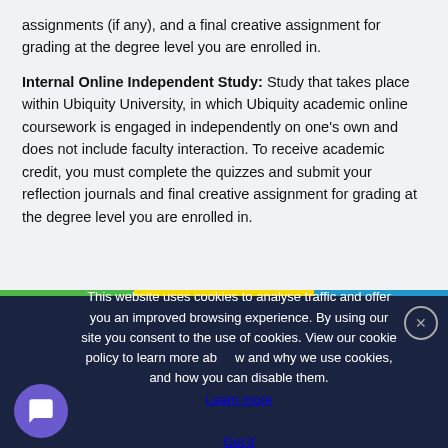assignments (if any), and a final creative assignment for grading at the degree level you are enrolled in.
Internal Online Independent Study: Study that takes place within Ubiquity University, in which Ubiquity academic online coursework is engaged in independently on one's own and does not include faculty interaction. To receive academic credit, you must complete the quizzes and submit your reflection journals and final creative assignment for grading at the degree level you are enrolled in.
This website uses cookies to analyse traffic and offer you an improved browsing experience. By using our site you consent to the use of cookies. View our cookie policy to learn more about how and why we use cookies, and how you can disable them. Learn more Got it